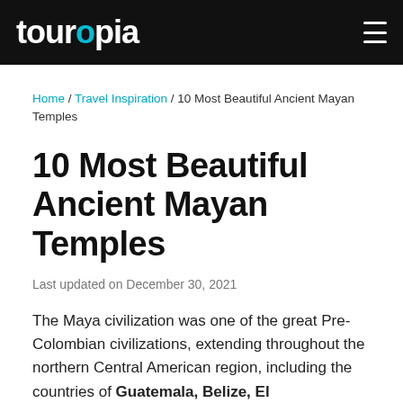touropia
Home / Travel Inspiration / 10 Most Beautiful Ancient Mayan Temples
10 Most Beautiful Ancient Mayan Temples
Last updated on December 30, 2021
The Maya civilization was one of the great Pre-Colombian civilizations, extending throughout the northern Central American region, including the countries of Guatemala, Belize, El...